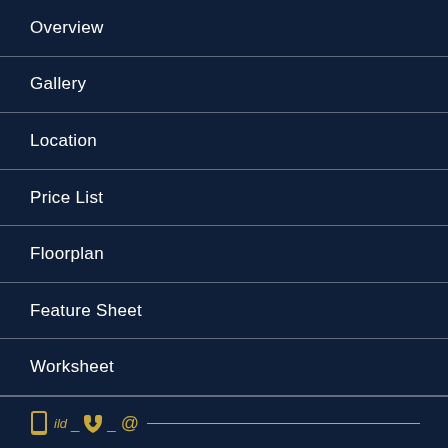Overview
Gallery
Location
Price List
Floorplan
Feature Sheet
Worksheet
mobile _ phone _ @ _____